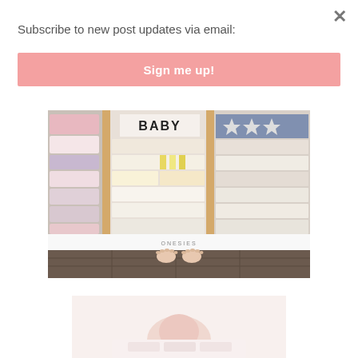×
Subscribe to new post updates via email:
Sign me up!
[Figure (photo): Top-down view of an open baby dresser drawer with organized folded baby clothes and onesies, divided by wooden separators. A label reading 'ONESIES' is visible, and a person's bare feet stand on dark hardwood floor below.]
[Figure (photo): Partially visible photo of a baby or infant, with a pink/light background.]